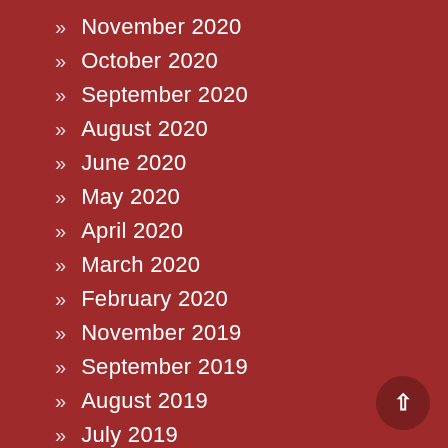November 2020
October 2020
September 2020
August 2020
June 2020
May 2020
April 2020
March 2020
February 2020
November 2019
September 2019
August 2019
July 2019
June 2019
May 2019